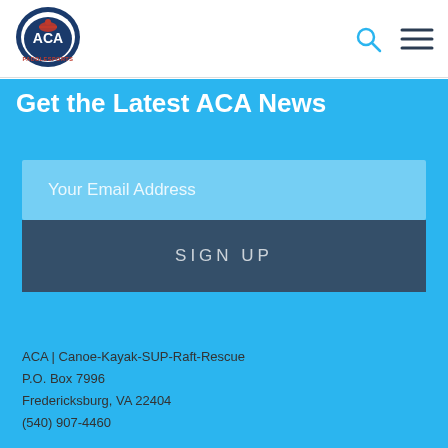[Figure (logo): ACA Paddlesports logo — circular badge with red kayaker figure and text ACA PADDLESPORTS]
[Figure (other): Search icon (magnifying glass) and hamburger menu icon in the header]
Get the Latest ACA News
Your Email Address
SIGN UP
ACA | Canoe-Kayak-SUP-Raft-Rescue
P.O. Box 7996
Fredericksburg, VA 22404
(540) 907-4460